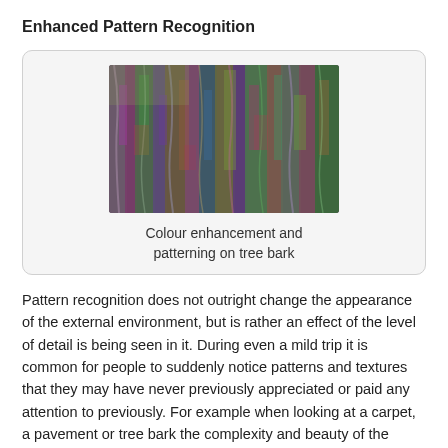Enhanced Pattern Recognition
[Figure (photo): Close-up photograph of tree bark with vivid colour enhancement showing purple, green, blue and red tones in the textured bark patterns.]
Colour enhancement and patterning on tree bark
Pattern recognition does not outright change the appearance of the external environment, but is rather an effect of the level of detail is being seen in it. During even a mild trip it is common for people to suddenly notice patterns and textures that they may have never previously appreciated or paid any attention to previously. For example when looking at a carpet, a pavement or tree bark the complexity and beauty of the texture suddenly becomes obvious.